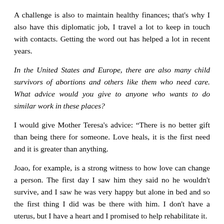A challenge is also to maintain healthy finances; that's why I also have this diplomatic job, I travel a lot to keep in touch with contacts. Getting the word out has helped a lot in recent years.
In the United States and Europe, there are also many child survivors of abortions and others like them who need care. What advice would you give to anyone who wants to do similar work in these places?
I would give Mother Teresa's advice: “There is no better gift than being there for someone. Love heals, it is the first need and it is greater than anything.
Joao, for example, is a strong witness to how love can change a person. The first day I saw him they said no he wouldn't survive, and I saw he was very happy but alone in bed and so the first thing I did was be there with him. I don't have a uterus, but I have a heart and I promised to help rehabilitate it.
I think at that time the Holy Spirit did something. He is now in very good health. Sure, he's still in care, but his blood pressure is good and everything in between. There are of course nurses with him, but he laughs